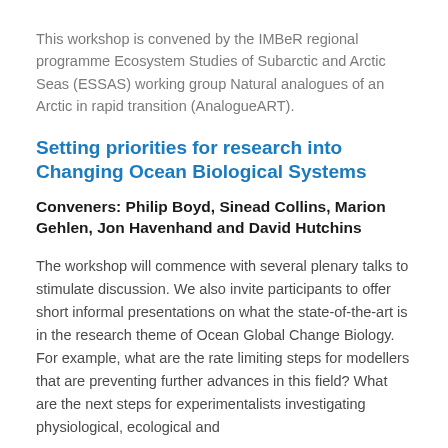This workshop is convened by the IMBeR regional programme Ecosystem Studies of Subarctic and Arctic Seas (ESSAS) working group Natural analogues of an Arctic in rapid transition (AnalogueART).
Setting priorities for research into Changing Ocean Biological Systems
Conveners: Philip Boyd, Sinead Collins, Marion Gehlen, Jon Havenhand and David Hutchins
The workshop will commence with several plenary talks to stimulate discussion. We also invite participants to offer short informal presentations on what the state-of-the-art is in the research theme of Ocean Global Change Biology. For example, what are the rate limiting steps for modellers that are preventing further advances in this field? What are the next steps for experimentalists investigating physiological, ecological and